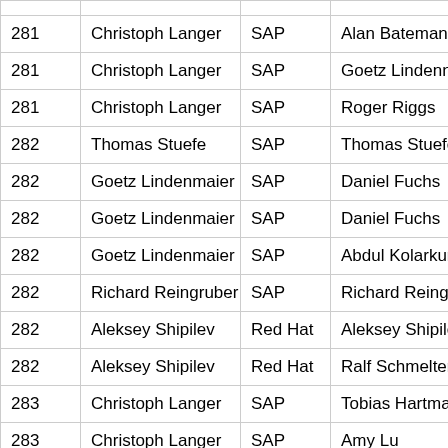|  |  |  |  |
| --- | --- | --- | --- |
| 281 | Christoph Langer | SAP | Alan Bateman |
| 281 | Christoph Langer | SAP | Goetz Lindenn |
| 281 | Christoph Langer | SAP | Roger Riggs |
| 282 | Thomas Stuefe | SAP | Thomas Stuefe |
| 282 | Goetz Lindenmaier | SAP | Daniel Fuchs |
| 282 | Goetz Lindenmaier | SAP | Daniel Fuchs |
| 282 | Goetz Lindenmaier | SAP | Abdul Kolarkur |
| 282 | Richard Reingruber | SAP | Richard Reingg |
| 282 | Aleksey Shipilev | Red Hat | Aleksey Shipile |
| 282 | Aleksey Shipilev | Red Hat | Ralf Schmelter |
| 283 | Christoph Langer | SAP | Tobias Hartma |
| 283 | Christoph Langer | SAP | Amy Lu |
| 283 | Christoph Langer | SAP | Michael McMa |
| 283 | Martin Doerr | SAP | Mandy Chung |
| 283 | Martin Doerr | SAP | Sergey Bylokh |